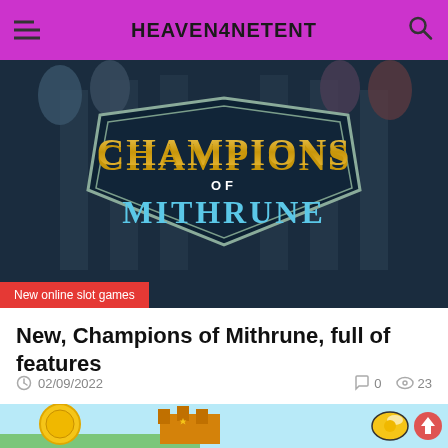HEAVEN4NETENT
[Figure (screenshot): Champions of Mithrune online slot game banner with fantasy characters and gold/teal logo on dark background]
New online slot games
New, Champions of Mithrune, full of features
02/09/2022  0  23
[Figure (screenshot): Colorful cartoon slot game image with golden coin, castle, and bee characters on bright background]